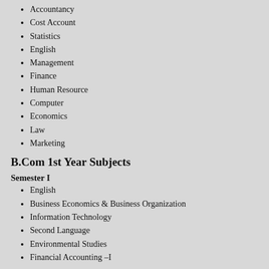Accountancy
Cost Account
Statistics
English
Management
Finance
Human Resource
Computer
Economics
Law
Marketing
B.Com 1st Year Subjects
Semester I
English
Business Economics & Business Organization
Information Technology
Second Language
Environmental Studies
Financial Accounting –I